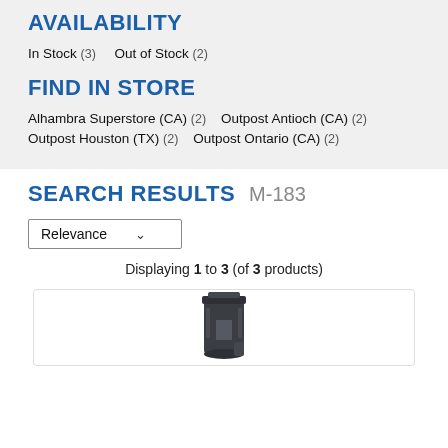AVAILABILITY
In Stock (3)   Out of Stock (2)
FIND IN STORE
Alhambra Superstore (CA) (2)   Outpost Antioch (CA) (2)   Outpost Houston (TX) (2)   Outpost Ontario (CA) (2)
SEARCH RESULTS   M-183
Relevance (dropdown)
Displaying 1 to 3 (of 3 products)
[Figure (photo): Photo of a black rifle magazine (M-183 product)]